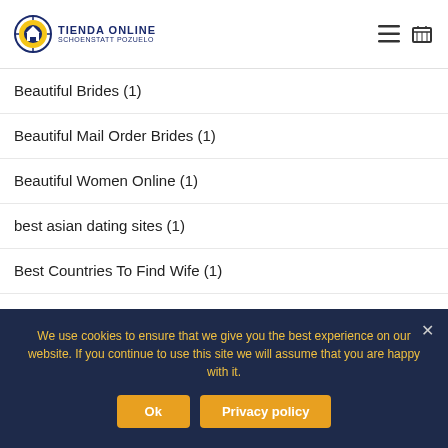TIENDA ONLINE SCHOENSTATT POZUELO
Beautiful Brides (1)
Beautiful Mail Order Brides (1)
Beautiful Women Online (1)
best asian dating sites (1)
Best Countries To Find Wife (1)
best dating sites (1)
We use cookies to ensure that we give you the best experience on our website. If you continue to use this site we will assume that you are happy with it.